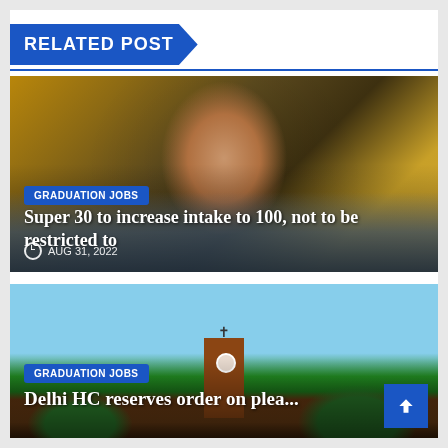RELATED POST
[Figure (photo): Close-up portrait of a man in a blue/grey shirt with blurred background, related to Super 30 article]
GRADUATION JOBS
Super 30 to increase intake to 100, not to be restricted to
AUG 31, 2022
[Figure (photo): Exterior photo of a brick tower building with a cross on top, trees surrounding it, blue sky background]
GRADUATION JOBS
Delhi HC reserves order on plea...